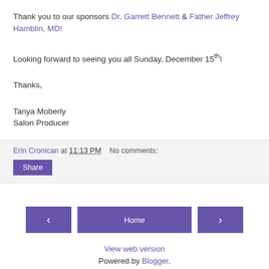Thank you to our sponsors Dr. Garrett Bennett & Father Jeffrey Hamblin, MD!
Looking forward to seeing you all Sunday, December 15th!
Thanks,
Tanya Moberly
Salon Producer
Erin Cronican at 11:13 PM   No comments:
Share
Home
View web version
Powered by Blogger.